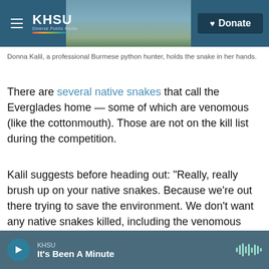[Figure (screenshot): KHSU radio station website header with logo, hamburger menu, coastal background photo, and Donate button]
Donna Kalil, a professional Burmese python hunter, holds the snake in her hands.
There are several native snakes that call the Everglades home — some of which are venomous (like the cottonmouth). Those are not on the kill list during the competition.
Kalil suggests before heading out: "Really, really brush up on your native snakes. Because we're out there trying to save the environment. We don't want any native snakes killed, including the venomous ones. They belong out there."
KHSU — It's Been A Minute